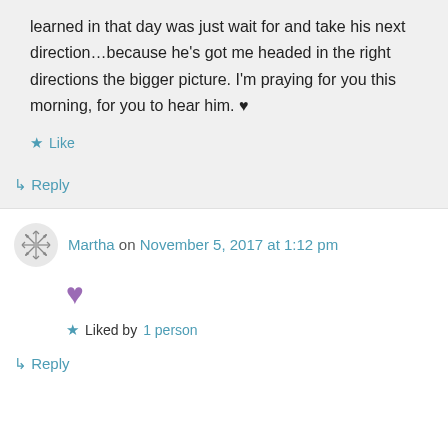learned in that day was just wait for and take his next direction...because he's got me headed in the right directions the bigger picture. I'm praying for you this morning, for you to hear him. ♥
★ Like
↳ Reply
Martha on November 5, 2017 at 1:12 pm
♥
★ Liked by 1 person
↳ Reply